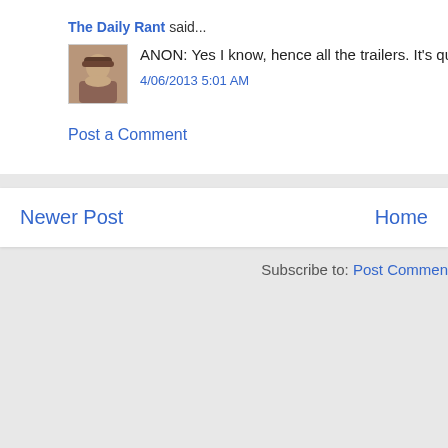The Daily Rant said...
ANON: Yes I know, hence all the trailers. It's quite the conundrum
4/06/2013 5:01 AM
Post a Comment
Newer Post
Home
Subscribe to: Post Commen